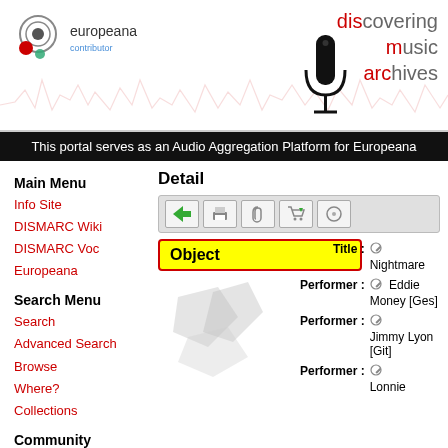[Figure (logo): Europeana contributor logo with circular graphic and text 'europeana contributor']
discovering music archives
This portal serves as an Audio Aggregation Platform for Europeana
Main Menu
Info Site
DISMARC Wiki
DISMARC Voc
Europeana
Search Menu
Search
Advanced Search
Browse
Where?
Collections
Community
Forum
Detail
| Field | Icon | Value |
| --- | --- | --- |
| Title : |  | Nightmare |
| Performer : |  | Eddie Money [Ges] |
| Performer : |  | Jimmy Lyon [Git] |
| Performer : |  | Lonnie |